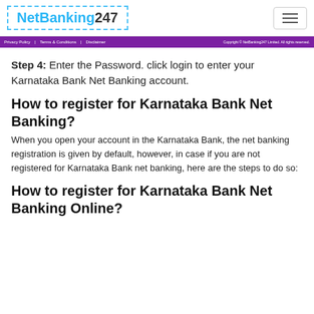NetBanking247
Step 4: Enter the Password. click login to enter your Karnataka Bank Net Banking account.
How to register for Karnataka Bank Net Banking?
When you open your account in the Karnataka Bank, the net banking registration is given by default, however, in case if you are not registered for Karnataka Bank net banking, here are the steps to do so:
How to register for Karnataka Bank Net Banking Online?